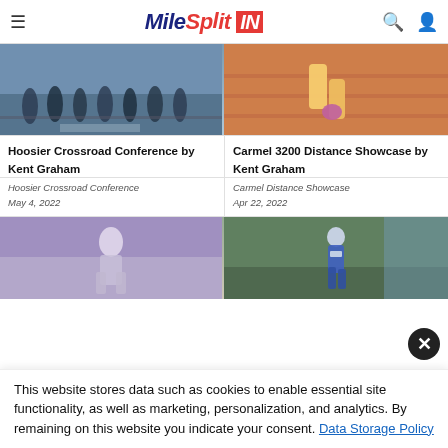MileSplit IN
[Figure (photo): Runners crouching at the starting line of a track race, wearing various colored singlets]
[Figure (photo): Runner in yellow and blue uniform running on a red track]
Hoosier Crossroad Conference by Kent Graham
Hoosier Crossroad Conference
May 4, 2022
Carmel 3200 Distance Showcase by Kent Graham
Carmel Distance Showcase
Apr 22, 2022
[Figure (photo): Athlete in light colored top with blurred background crowd at indoor track]
[Figure (photo): Young female runner in blue uniform running on a grass/track area]
This website stores data such as cookies to enable essential site functionality, as well as marketing, personalization, and analytics. By remaining on this website you indicate your consent. Data Storage Policy